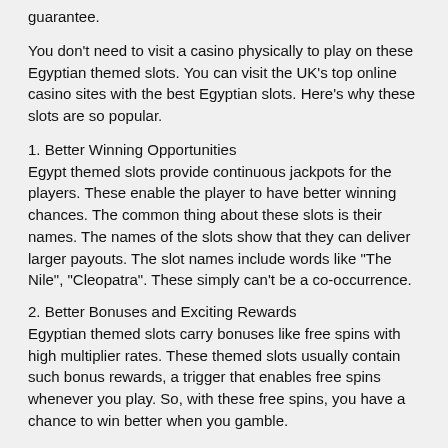guarantee.
You don’t need to visit a casino physically to play on these Egyptian themed slots. You can visit the UK’s top online casino sites with the best Egyptian slots. Here’s why these slots are so popular.
1. Better Winning Opportunities
Egypt themed slots provide continuous jackpots for the players. These enable the player to have better winning chances. The common thing about these slots is their names. The names of the slots show that they can deliver larger payouts. The slot names include words like “The Nile”, “Cleopatra”. These simply can’t be a co-occurrence.
2. Better Bonuses and Exciting Rewards
Egyptian themed slots carry bonuses like free spins with high multiplier rates. These themed slots usually contain such bonus rewards, a trigger that enables free spins whenever you play. So, with these free spins, you have a chance to win better when you gamble.